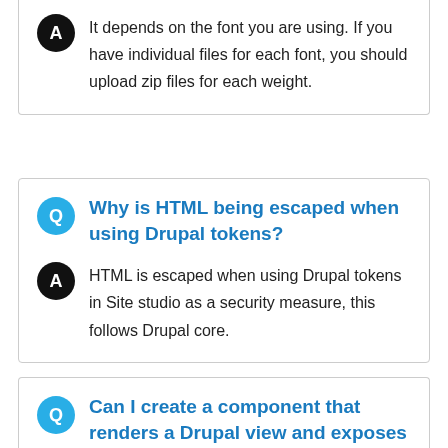It depends on the font you are using. If you have individual files for each font, you should upload zip files for each weight.
Why is HTML being escaped when using Drupal tokens?
HTML is escaped when using Drupal tokens in Site studio as a security measure, this follows Drupal core.
Can I create a component that renders a Drupal view and exposes a